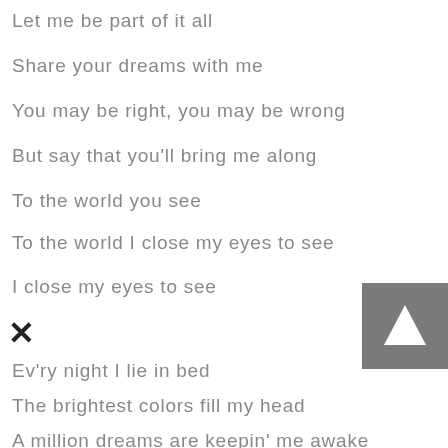Let me be part of it all
Share your dreams with me
You may be right, you may be wrong
But say that you'll bring me along
To the world you see
To the world I close my eyes to see
I close my eyes to see
×
Ev'ry night I lie in bed
The brightest colors fill my head
A million dreams are keepin' me awake
[Figure (other): Gray square button with white upward-pointing triangle (play/scroll up button)]